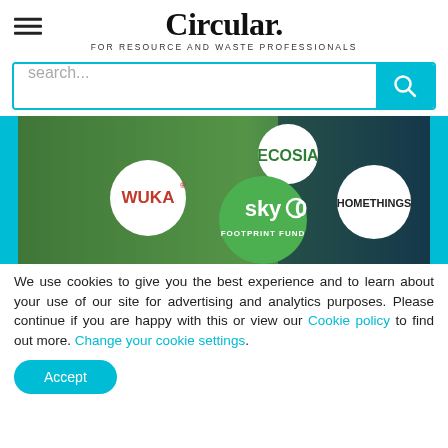Circular. FOR RESOURCE AND WASTE PROFESSIONALS
[Figure (screenshot): Search bar with teal border and teal search button with magnifying glass icon]
[Figure (infographic): Aerial nature photo banner with circular logos: ECOSIA (green text), WUKA (red text), sky0 FOOTPRINT FUND (green circle), HOMETHINGS (black text), with teal side bars]
We use cookies to give you the best experience and to learn about your use of our site for advertising and analytics purposes. Please continue if you are happy with this or view our Cookie policy to find out more. Change your cookie settings.
Accept